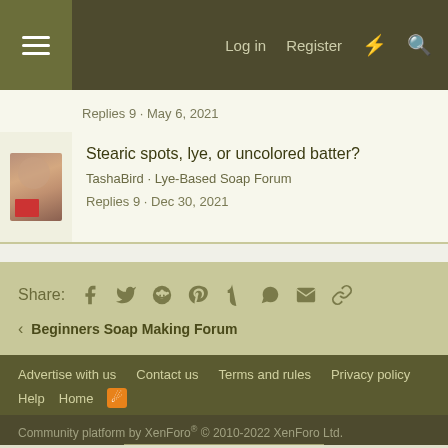Log in  Register
Replies 9 · May 6, 2021
Stearic spots, lye, or uncolored batter?
TashaBird · Lye-Based Soap Forum
Replies 9 · Dec 30, 2021
Share:
< Beginners Soap Making Forum
Advertise with us  Contact us  Terms and rules  Privacy policy  Help  Home  [RSS]
Community platform by XenForo® © 2010-2022 XenForo Ltd.
AN ELITE CAFEMEDIA PUBLISHER